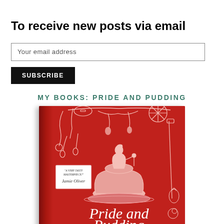To receive new posts via email
Your email address
SUBSCRIBE
MY BOOKS: PRIDE AND PUDDING
[Figure (photo): Book cover of 'Pride and Pudding' with red background, illustration of a woman standing on a pudding/jelly mold, decorative Victorian-style swirls and kitchen implements, quote tag reading 'A Very Tasty Masterpiece! - Jamie Oliver', title in white italic script at the bottom.]